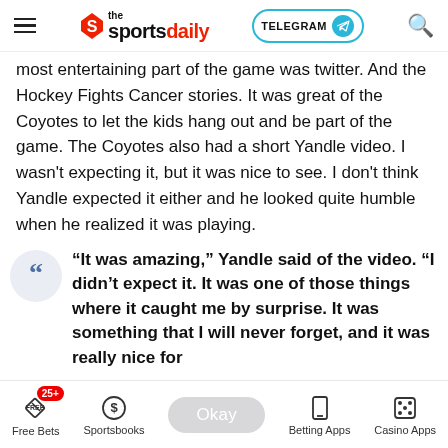the sportsdaily | TELEGRAM | Search
most entertaining part of the game was twitter. And the Hockey Fights Cancer stories. It was great of the Coyotes to let the kids hang out and be part of the game. The Coyotes also had a short Yandle video. I wasn't expecting it, but it was nice to see. I don't think Yandle expected it either and he looked quite humble when he realized it was playing.
“It was amazing,” Yandle said of the video. “I didn’t expect it. It was one of those things where it caught me by surprise. It was something that I will never forget, and it was really nice for
Free Bets | 25+ | Sportsbooks | Okay | Betting Apps | Casino Apps